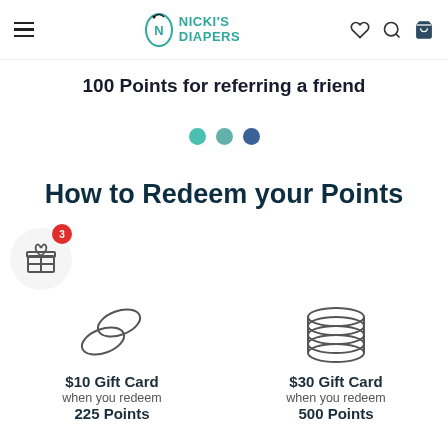Nicki's Diapers — navigation header with hamburger menu, logo, heart, search, and bag icons
100 Points for referring a friend
[Figure (infographic): Three carousel dots: two teal and one dark blue, indicating page 3 of 3]
How to Redeem your Points
[Figure (illustration): Gift box icon with red badge showing number 3]
[Figure (infographic): Two coin stacks icon for $10 gift card redemption at 225 Points, and a larger coin stack icon for $30 gift card at 500 Points]
$10 Gift Card when you redeem 225 Points
$30 Gift Card when you redeem 500 Points